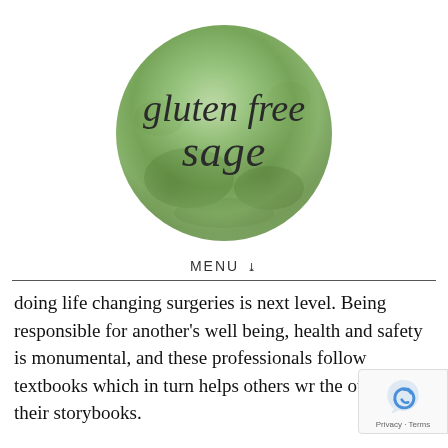[Figure (logo): Gluten Free Sage watercolor logo — a green watercolor circle with cursive text 'gluten free sage' inside]
MENU ˅
doing life changing surgeries is next level. Being responsible for another's well being, health and safety is monumental, and these professionals follow textbooks which in turn helps others write the outcome of their storybooks.